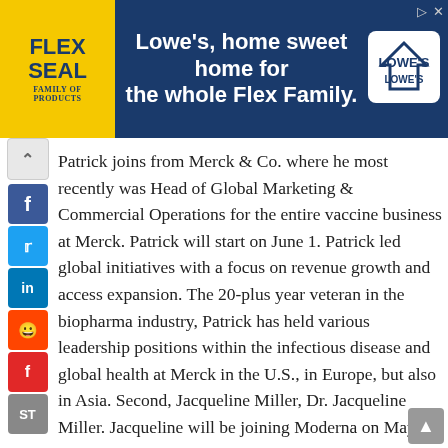[Figure (other): Flex Seal and Lowe's advertisement banner: Flex Seal yellow logo on left, text 'Lowe's, home sweet home for the whole Flex Family.' with Lowe's logo on right, dark blue background.]
Patrick joins from Merck & Co. where he most recently was Head of Global Marketing & Commercial Operations for the entire vaccine business at Merck. Patrick will start on June 1. Patrick led global initiatives with a focus on revenue growth and access expansion. The 20-plus year veteran in the biopharma industry, Patrick has held various leadership positions within the infectious disease and global health at Merck in the U.S., in Europe, but also in Asia. Second, Jacqueline Miller, Dr. Jacqueline Miller. Jacqueline will be joining Moderna on May 11 from GSK as Senior Vice President, Infectious Disease Development. Jacqueline joins the company from GSK where she held a variety of leadership roles since 2005. Most recently, Jacqueline was the Vice